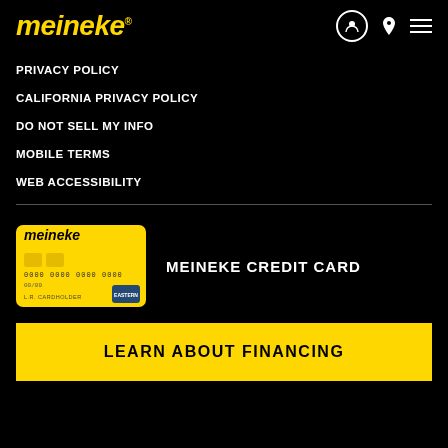meineke
PRIVACY POLICY
CALIFORNIA PRIVACY POLICY
DO NOT SELL MY INFO
MOBILE TERMS
WEB ACCESSIBILITY
[Figure (other): Meineke branded yellow credit card with the text meineke, card number 0000 0000 0000 0000, expiry 00/00, and L.R. CARDHOLDER]
MEINEKE CREDIT CARD
LEARN ABOUT FINANCING